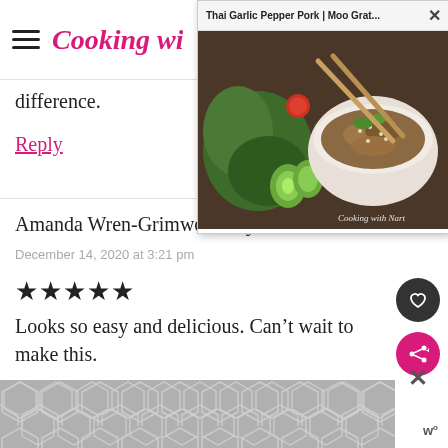Cooking wi...
[Figure (photo): Popup browser tab showing Thai Garlic Pepper Pork dish in a bowl with chopsticks, cucumber slices, and fresh herbs. Watermark reads 'Cooking with Nart'.]
difference.
Reply
Amanda Wren-Grimwood says
December 14, 2020 at 3:21 pm
★★★★★
Looks so easy and delicious. Can't wait to make this.
[Figure (illustration): Grey hexagonal geometric pattern at the bottom of the page]